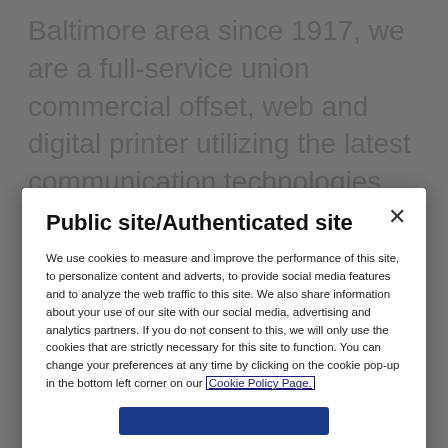Baltimore area since 1917, we are a full-service union commercial offset, web and digital printer utilizing the latest communication technologies and strategies to deliver the highest quality material in the most efficient manner possible.

At Mount Vernon, we're on a mission. Quite
Public site/Authenticated site
We use cookies to measure and improve the performance of this site, to personalize content and adverts, to provide social media features and to analyze the web traffic to this site. We also share information about your use of our site with our social media, advertising and analytics partners. If you do not consent to this, we will only use the cookies that are strictly necessary for this site to function. You can change your preferences at any time by clicking on the cookie pop-up in the bottom left corner on our Cookie Policy Page.